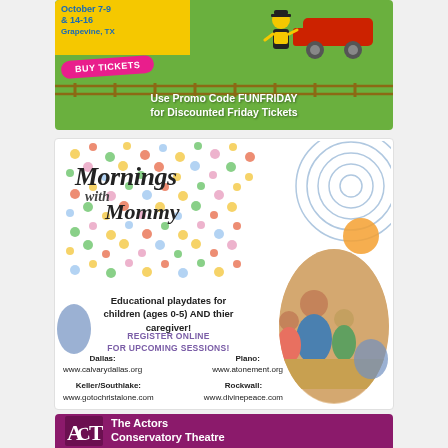[Figure (advertisement): Thomas the Train themed event ad with green background, yellow band showing 'October 7-9 & 14-16 Grapevine, TX', pink BUY TICKETS button, and white text 'Use Promo Code FUNFRIDAY for Discounted Friday Tickets']
[Figure (advertisement): Mornings with Mommy educational playdates ad. Colorful dots background, decorative script title 'Mornings with Mommy', text about educational playdates for children ages 0-5 and caregiver, register online for upcoming sessions, Dallas, Plano, Keller/Southlake, Rockwall locations with websites. Photo of mother and two children.]
[Figure (advertisement): The Actors Conservatory Theatre ad, purple/maroon background with ACT logo and white text.]